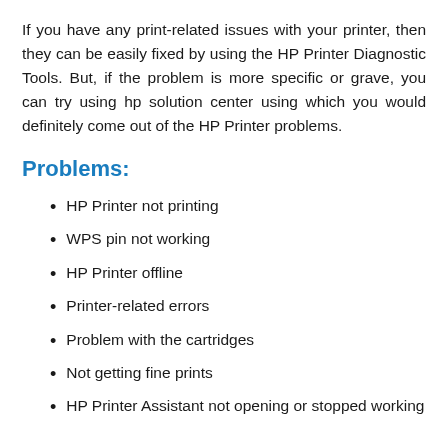If you have any print-related issues with your printer, then they can be easily fixed by using the HP Printer Diagnostic Tools. But, if the problem is more specific or grave, you can try using hp solution center using which you would definitely come out of the HP Printer problems.
Problems:
HP Printer not printing
WPS pin not working
HP Printer offline
Printer-related errors
Problem with the cartridges
Not getting fine prints
HP Printer Assistant not opening or stopped working